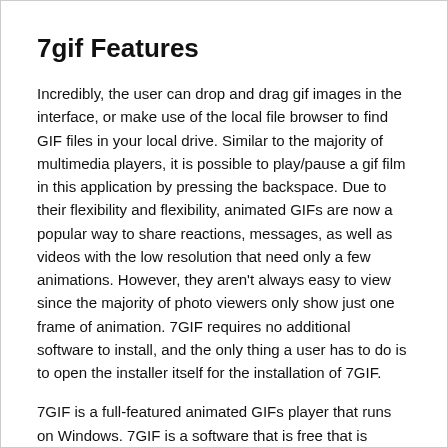7gif Features
Incredibly, the user can drop and drag gif images in the interface, or make use of the local file browser to find GIF files in your local drive. Similar to the majority of multimedia players, it is possible to play/pause a gif film in this application by pressing the backspace. Due to their flexibility and flexibility, animated GIFs are now a popular way to share reactions, messages, as well as videos with the low resolution that need only a few animations. However, they aren't always easy to view since the majority of photo viewers only show just one frame of animation. 7GIF requires no additional software to install, and the only thing a user has to do is to open the installer itself for the installation of 7GIF.
7GIF is a full-featured animated GIFs player that runs on Windows. 7GIF is a software that is free that is included in the Viewers list of applications, which is as part of Graphic Apps.